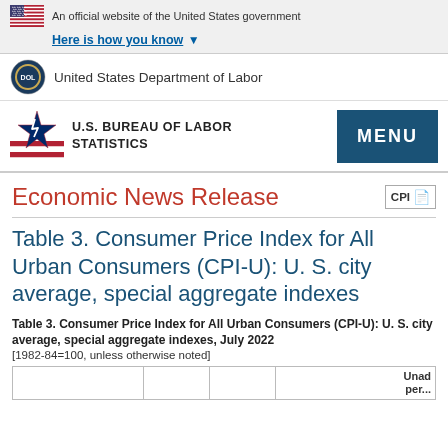An official website of the United States government
Here is how you know ▾
United States Department of Labor
U.S. BUREAU OF LABOR STATISTICS
Economic News Release
Table 3. Consumer Price Index for All Urban Consumers (CPI-U): U. S. city average, special aggregate indexes
Table 3. Consumer Price Index for All Urban Consumers (CPI-U): U. S. city average, special aggregate indexes, July 2022
[1982-84=100, unless otherwise noted]
|  |  |  | Unadj per... |
| --- | --- | --- | --- |